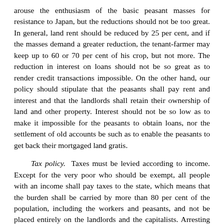arouse the enthusiasm of the basic peasant masses for resistance to Japan, but the reductions should not be too great. In general, land rent should be reduced by 25 per cent, and if the masses demand a greater reduction, the tenant-farmer may keep up to 60 or 70 per cent of his crop, but not more. The reduction in interest on loans should not be so great as to render credit transactions impossible. On the other hand, our policy should stipulate that the peasants shall pay rent and interest and that the landlords shall retain their ownership of land and other property. Interest should not be so low as to make it impossible for the peasants to obtain loans, nor the settlement of old accounts be such as to enable the peasants to get back their mortgaged land gratis.
Tax policy. Taxes must be levied according to income. Except for the very poor who should be exempt, all people with an income shall pay taxes to the state, which means that the burden shall be carried by more than 80 per cent of the population, including the workers and peasants, and not be placed entirely on the landlords and the capitalists. Arresting people and imposing fines on them as a means of financing the army must be forbidden. We may use the existing Kuomintang system of taxation with appropriate alterations until we have devised a new and more suitable one.